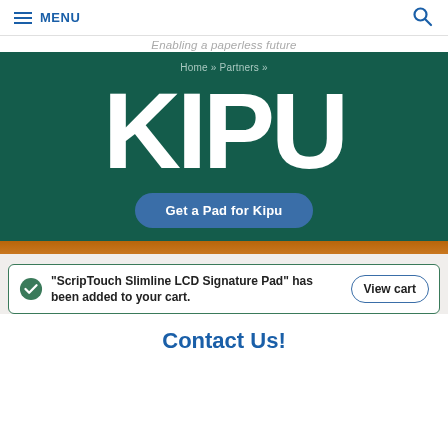Enabling a paperless future
≡ MENU
Home » Partners »
KIPU
Get a Pad for Kipu
"ScripTouch Slimline LCD Signature Pad" has been added to your cart.
View cart
Contact Us!